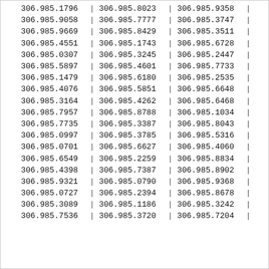| 306.985.1796 | | | 306.985.8023 | | | 306.985.9358 | | |
| 306.985.9058 | | | 306.985.7777 | | | 306.985.3747 | | |
| 306.985.9669 | | | 306.985.8429 | | | 306.985.3511 | | |
| 306.985.4551 | | | 306.985.1743 | | | 306.985.6728 | | |
| 306.985.0307 | | | 306.985.3245 | | | 306.985.2447 | | |
| 306.985.5897 | | | 306.985.4601 | | | 306.985.7733 | | |
| 306.985.1479 | | | 306.985.6180 | | | 306.985.2535 | | |
| 306.985.4076 | | | 306.985.5851 | | | 306.985.6648 | | |
| 306.985.3164 | | | 306.985.4262 | | | 306.985.6468 | | |
| 306.985.7957 | | | 306.985.8788 | | | 306.985.1034 | | |
| 306.985.7735 | | | 306.985.3387 | | | 306.985.8043 | | |
| 306.985.0997 | | | 306.985.3785 | | | 306.985.5316 | | |
| 306.985.0701 | | | 306.985.6627 | | | 306.985.4060 | | |
| 306.985.6549 | | | 306.985.2259 | | | 306.985.8834 | | |
| 306.985.4398 | | | 306.985.7387 | | | 306.985.8902 | | |
| 306.985.9321 | | | 306.985.0790 | | | 306.985.9368 | | |
| 306.985.0727 | | | 306.985.2394 | | | 306.985.8678 | | |
| 306.985.3089 | | | 306.985.1186 | | | 306.985.3242 | | |
| 306.985.7536 | | | 306.985.3720 | | | 306.985.7204 | | |